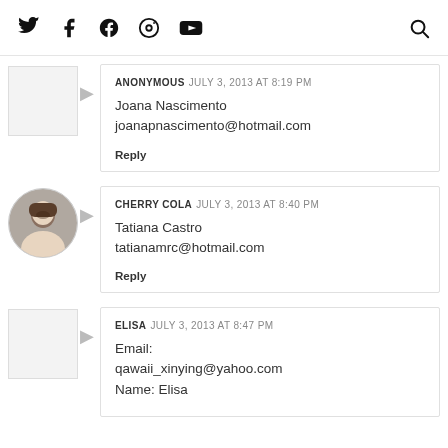Social media icons: Twitter, Facebook, Pinterest, Instagram, YouTube, Search
ANONYMOUS  JULY 3, 2013 AT 8:19 PM
Joana Nascimento
joanapnascimento@hotmail.com
Reply
CHERRY COLA  JULY 3, 2013 AT 8:40 PM
Tatiana Castro
tatianamrc@hotmail.com
Reply
ELISA  JULY 3, 2013 AT 8:47 PM
Email:
qawaii_xinying@yahoo.com
Name: Elisa